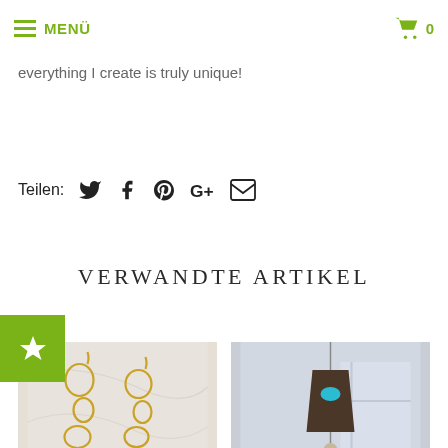MENÜ  0
everything I create is truly unique!
Teilen:
VERWANDTE ARTIKEL
[Figure (photo): Gold wire statement earrings on marble background]
JAYLENE gold statement earrings
[Figure (photo): ARAGON French Art Deco Necklace with turquoise bead and leather pendant hanging outdoors]
ARAGON French Art Deco Necklace